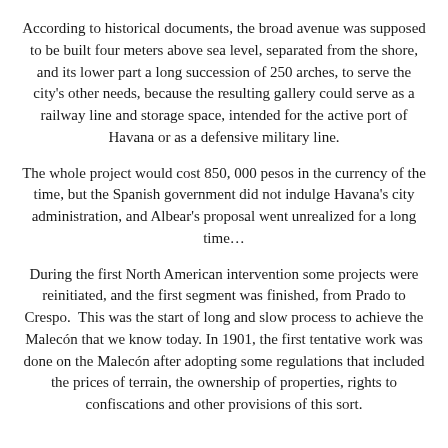According to historical documents, the broad avenue was supposed to be built four meters above sea level, separated from the shore, and its lower part a long succession of 250 arches, to serve the city's other needs, because the resulting gallery could serve as a railway line and storage space, intended for the active port of Havana or as a defensive military line.
The whole project would cost 850, 000 pesos in the currency of the time, but the Spanish government did not indulge Havana's city administration, and Albear's proposal went unrealized for a long time…
During the first North American intervention some projects were reinitiated, and the first segment was finished, from Prado to Crespo.  This was the start of long and slow process to achieve the Malecón that we know today. In 1901, the first tentative work was done on the Malecón after adopting some regulations that included the prices of terrain, the ownership of properties, rights to confiscations and other provisions of this sort.